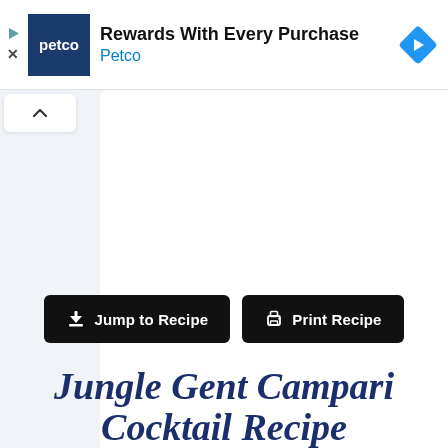[Figure (screenshot): Petco advertisement banner showing 'Rewards With Every Purchase' with Petco logo on dark blue background and a blue diamond navigation arrow icon on the right. Small play and X icons on the far left.]
[Figure (screenshot): Web page interface showing a light blue-gray background with a white collapse button (caret up icon) at top left, a white content panel on the right, two black buttons reading 'Jump to Recipe' and 'Print Recipe', and the beginning of a page title 'Jungle Gent Campari Cocktail Recipe' in dark navy italic serif font.]
Jungle Gent Campari Cocktail Recipe